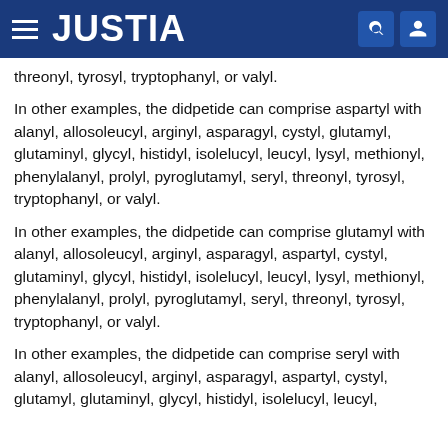JUSTIA
threonyl, tyrosyl, tryptophanyl, or valyl.
In other examples, the didpetide can comprise aspartyl with alanyl, allosoleucyl, arginyl, asparagyl, cystyl, glutamyl, glutaminyl, glycyl, histidyl, isolelucyl, leucyl, lysyl, methionyl, phenylalanyl, prolyl, pyroglutamyl, seryl, threonyl, tyrosyl, tryptophanyl, or valyl.
In other examples, the didpetide can comprise glutamyl with alanyl, allosoleucyl, arginyl, asparagyl, aspartyl, cystyl, glutaminyl, glycyl, histidyl, isolelucyl, leucyl, lysyl, methionyl, phenylalanyl, prolyl, pyroglutamyl, seryl, threonyl, tyrosyl, tryptophanyl, or valyl.
In other examples, the didpetide can comprise seryl with alanyl, allosoleucyl, arginyl, asparagyl, aspartyl, cystyl, glutamyl, glutaminyl, glycyl, histidyl, isolelucyl, leucyl, lysyl, methionyl, phenylalanyl, prolyl, pyroglutamyl, seryl, threonyl, tyrosyl, tryptophanyl, or valyl.